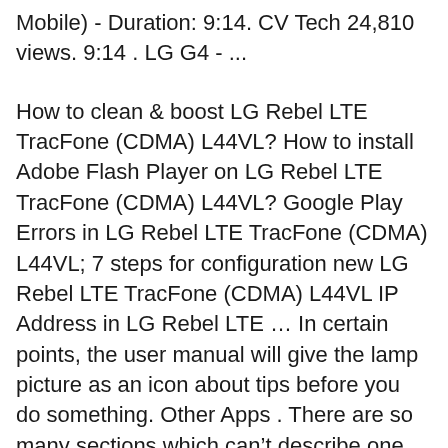Mobile) - Duration: 9:14. CV Tech 24,810 views. 9:14 . LG G4 - ...
How to clean & boost LG Rebel LTE TracFone (CDMA) L44VL? How to install Adobe Flash Player on LG Rebel LTE TracFone (CDMA) L44VL? Google Play Errors in LG Rebel LTE TracFone (CDMA) L44VL; 7 steps for configuration new LG Rebel LTE TracFone (CDMA) L44VL IP Address in LG Rebel LTE … In certain points, the user manual will give the lamp picture as an icon about tips before you do something. Other Apps . There are so many sections which can't describe one by one, for instance about the other applications. The two main additional applications that describe in